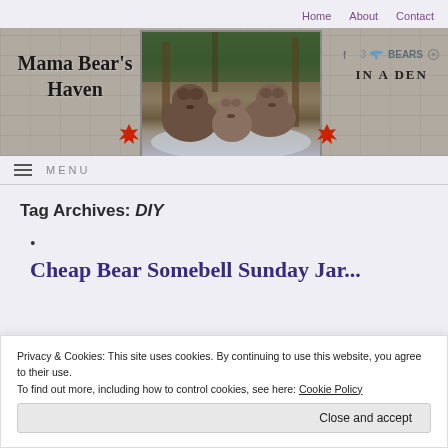Home   About   Contact
[Figure (illustration): Mama Bear's Haven website banner with stone wall background, bears photo in center, maple leaf decorations, and social media icons with '3 Bears in a Den' text on the right]
≡ MENU
Tag Archives: DIY
Cheap Bear Somebell Sunday Jar... (partial, cut off)
Privacy & Cookies: This site uses cookies. By continuing to use this website, you agree to their use.
To find out more, including how to control cookies, see here: Cookie Policy
Close and accept